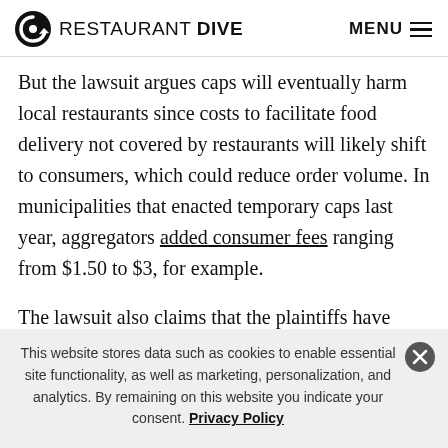RESTAURANT DIVE  MENU
But the lawsuit argues caps will eventually harm local restaurants since costs to facilitate food delivery not covered by restaurants will likely shift to consumers, which could reduce order volume. In municipalities that enacted temporary caps last year, aggregators added consumer fees ranging from $1.50 to $3, for example.
The lawsuit also claims that the plaintiffs have always worked to create fair contracts. DoorDash introduced a
This website stores data such as cookies to enable essential site functionality, as well as marketing, personalization, and analytics. By remaining on this website you indicate your consent. Privacy Policy